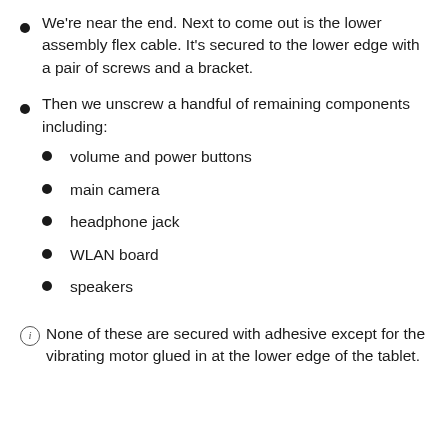We're near the end. Next to come out is the lower assembly flex cable. It's secured to the lower edge with a pair of screws and a bracket.
Then we unscrew a handful of remaining components including:
volume and power buttons
main camera
headphone jack
WLAN board
speakers
None of these are secured with adhesive except for the vibrating motor glued in at the lower edge of the tablet.